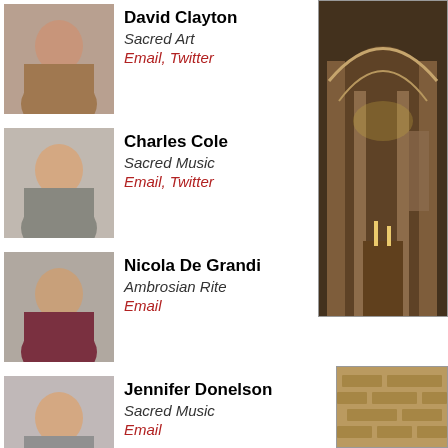David Clayton – Sacred Art – Email, Twitter
Charles Cole – Sacred Music – Email, Twitter
Nicola De Grandi – Ambrosian Rite – Email
Jennifer Donelson – Sacred Music – Email
Michael P. Foley – Texts and Translations – Email
Matthew Hazell – History of the Reform – Email
[Figure (photo): Interior of a grand Catholic church with arched nave, ornate columns, and dim devotional lighting]
[Figure (photo): Interior architectural detail of a church with stone walls and warm lighting]